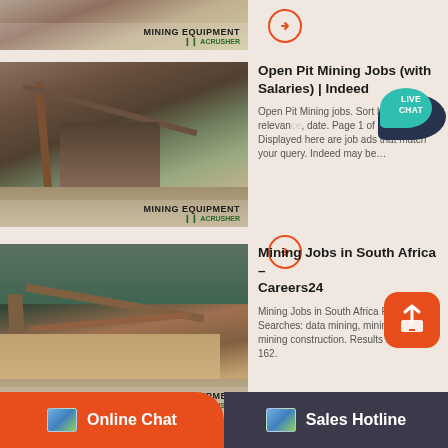[Figure (photo): Mining equipment / open pit mining scene (partially visible at top) with MINING EQUIPMENT ACRUSHER branding]
[Figure (photo): Arrow/next button (orange circle with right arrow)]
Open Pit Mining Jobs (with Salaries) | Indeed
Open Pit Mining jobs. Sort by: relevance, date. Page 1 of 109 jobs. Displayed here are job ads that match your query. Indeed may be…
[Figure (photo): Open pit mining equipment scene with MINING EQUIPMENT ACRUSHER branding]
[Figure (photo): Arrow/next button (orange circle with right arrow)]
Mining Jobs in South Africa – Careers24
Mining Jobs in South Africa Related Searches: data mining, mining engineer, mining construction. Results 1 – 10 of 162.
[Figure (photo): Mining equipment/crushing plant scene with MINING EQUIPMENT ACRUSHER branding]
[Figure (photo): Arrow/next button (orange circle with right arrow)]
PGC Mining Services
PRETORIUS GROUP OF COMPANIES We have a…
[Figure (photo): Mining landscape (partially visible at bottom)]